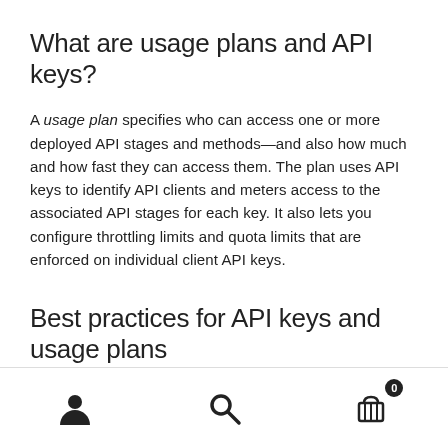What are usage plans and API keys?
A usage plan specifies who can access one or more deployed API stages and methods—and also how much and how fast they can access them. The plan uses API keys to identify API clients and meters access to the associated API stages for each key. It also lets you configure throttling limits and quota limits that are enforced on individual client API keys.
Best practices for API keys and usage plans
navigation icons: user, search, cart (0)